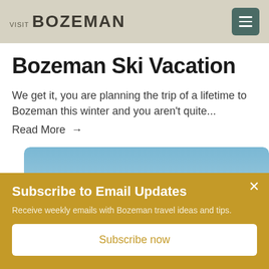VISIT BOZEMAN
Bozeman Ski Vacation
We get it, you are planning the trip of a lifetime to Bozeman this winter and you aren't quite...
Read More →
[Figure (photo): Ski photo with blue sky and white snowy slope with a skier visible]
Subscribe to Email Updates
Receive weekly emails with Bozeman travel ideas and tips.
Subscribe now